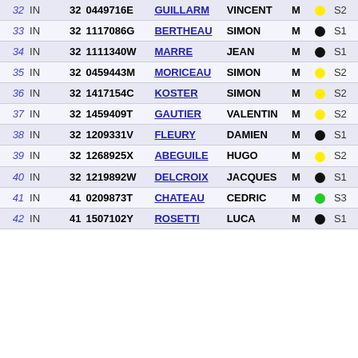| # | Type | Dept | ID | Last Name | First Name | Gender | Color | Category |
| --- | --- | --- | --- | --- | --- | --- | --- | --- |
| 32 | IN | 32 | 0449716E | GUILLARM | VINCENT | M | yellow | S2 |
| 33 | IN | 32 | 1117086G | BERTHEAU | SIMON | M | black | S1 |
| 34 | IN | 32 | 1111340W | MARRE | JEAN | M | black | S1 |
| 35 | IN | 32 | 0459443M | MORICEAU | SIMON | M | yellow | S2 |
| 36 | IN | 32 | 1417154C | KOSTER | SIMON | M | yellow | S2 |
| 37 | IN | 32 | 1459409T | GAUTIER | VALENTIN | M | yellow | S2 |
| 38 | IN | 32 | 1209331V | FLEURY | DAMIEN | M | black | S1 |
| 39 | IN | 32 | 1268925X | ABEGUILE | HUGO | M | yellow | S2 |
| 40 | IN | 32 | 1219892W | DELCROIX | JACQUES | M | black | S1 |
| 41 | IN | 41 | 0209873T | CHATEAU | CEDRIC | M | green | S3 |
| 42 | IN | 41 | 1507102Y | ROSETTI | LUCA | M | black | S1 |